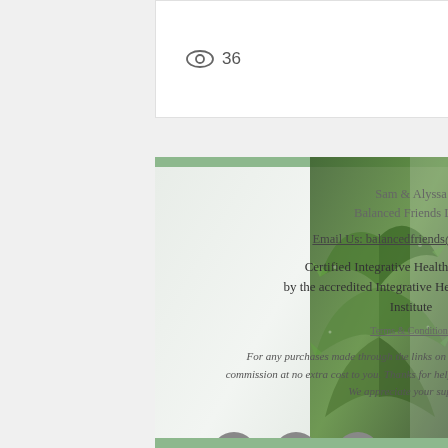[Figure (screenshot): Blog post card showing view count icon with 36 views and 2 likes (heart icon)]
[Figure (other): Three pagination dots, first dot active (green), two inactive (grey)]
Sam & Alyssa
Balanced Friends LLC
Email Us: balancedfriends@gmail.com
Certified Integrative Health Practitioners by the accredited Integrative Health Practitioners Institute
Terms & Conditions
For any purchases made through the links on our website we make a small commission at no extra cost to you. Thanks for helping us build our dream business. We appreciate your support!
[Figure (logo): Balanced Friends brand logo box with caret up arrow, text BALANCED and script friends]
[Figure (other): Three grey circular social media icons: Pinterest, Facebook, Instagram]
[Figure (photo): Green succulent/aloe plant photo on right side]